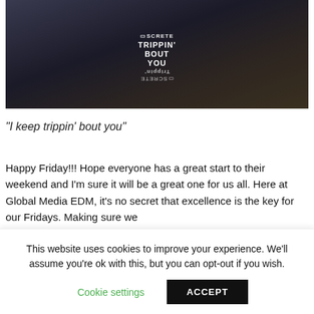[Figure (photo): Album cover art for a music release. Dark moody background with text reading 'DISCRETE TRIPPIN' BOUT YOU' displayed normally and also flipped/mirrored vertically.]
“I keep trippin’ bout you”
Happy Friday!!! Hope everyone has a great start to their weekend and I’m sure it will be a great one for us all. Here at Global Media EDM, it’s no secret that excellence is the key for our Fridays. Making sure we
This website uses cookies to improve your experience. We’ll assume you’re ok with this, but you can opt-out if you wish.
Cookie settings
ACCEPT